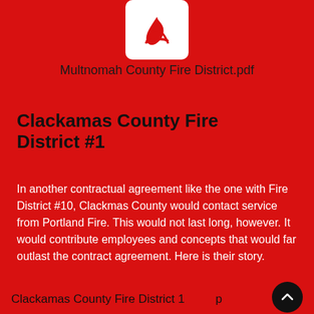[Figure (logo): Adobe Acrobat PDF icon (red on white rounded rectangle) at top center]
Multnomah County Fire District.pdf
Clackamas County Fire District #1
In another contractual agreement like the one with Fire District #10, Clackmas County would contact service from Portland Fire.  This would not last long, however.  It would contribute employees and concepts that would far outlast the contract agreement.  Here is their story.
[Figure (logo): Adobe Acrobat PDF icon with PDF label on top, large red icon on white rounded rectangle]
Clackamas County Fire District 1 p